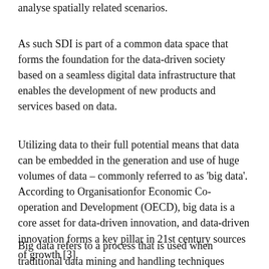analyse spatially related scenarios.
As such SDI is part of a common data space that forms the foundation for the data-driven society based on a seamless digital data infrastructure that enables the development of new products and services based on data.
Utilizing data to their full potential means that data can be embedded in the generation and use of huge volumes of data – commonly referred to as ‘big data’. According to Organisationfor Economic Co-operation and Development (OECD), big data is a core asset for data-driven innovation, and data-driven innovation forms a key pillar in 21st century sources of growth [3].
Big data refers to a process that is used when traditional data mining and handling techniques cannot uncover the insights and meaning of the underlying data. Data that is